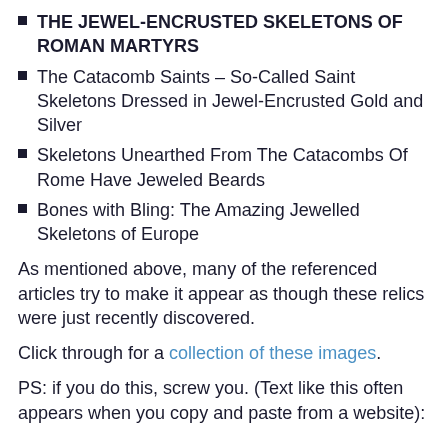THE JEWEL-ENCRUSTED SKELETONS OF ROMAN MARTYRS
The Catacomb Saints – So-Called Saint Skeletons Dressed in Jewel-Encrusted Gold and Silver
Skeletons Unearthed From The Catacombs Of Rome Have Jeweled Beards
Bones with Bling: The Amazing Jewelled Skeletons of Europe
As mentioned above, many of the referenced articles try to make it appear as though these relics were just recently discovered.
Click through for a collection of these images.
PS: if you do this, screw you. (Text like this often appears when you copy and paste from a website):